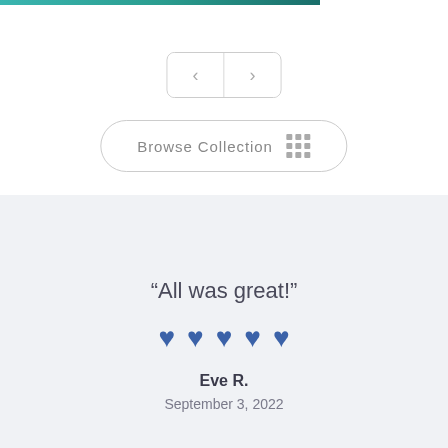[Figure (other): Navigation previous/next arrow buttons with rounded rectangle border]
[Figure (other): Browse Collection button with grid icon and rounded border]
“All was great!”
[Figure (other): Five blue heart icons representing a 5-star rating]
Eve R.
September 3, 2022